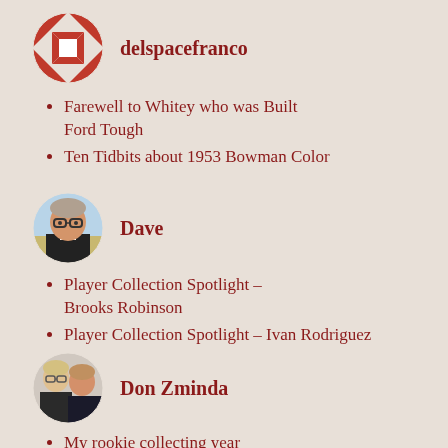[Figure (logo): Circular avatar with red and white quilt/geometric pattern for user delspacefranco]
delspacefranco
Farewell to Whitey who was Built Ford Tough
Ten Tidbits about 1953 Bowman Color
[Figure (photo): Circular profile photo of Dave, a man wearing glasses and a black jacket]
Dave
Player Collection Spotlight – Brooks Robinson
Player Collection Spotlight – Ivan Rodriguez
[Figure (photo): Circular profile photo of Don Zminda, two people pictured]
Don Zminda
My rookie collecting year
Dick Allen: A Chicagoan Remembers